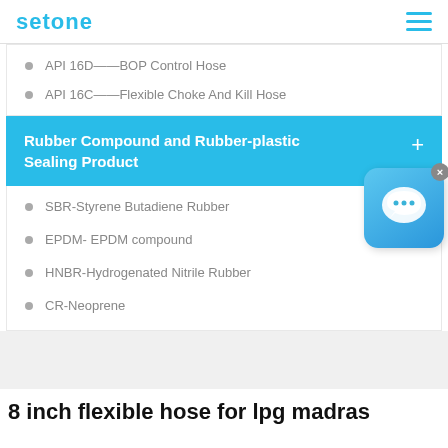setone
API 16D——BOP Control Hose
API 16C——Flexible Choke And Kill Hose
Rubber Compound and Rubber-plastic Sealing Product
SBR-Styrene Butadiene Rubber
EPDM- EPDM compound
HNBR-Hydrogenated Nitrile Rubber
CR-Neoprene
8 inch flexible hose for lpg madras